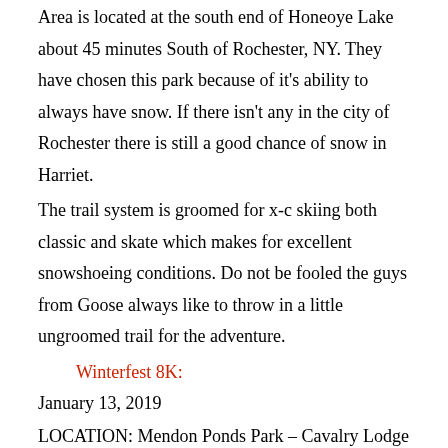Area is located at the south end of Honeoye Lake about 45 minutes South of Rochester, NY. They have chosen this park because of it's ability to always have snow. If there isn't any in the city of Rochester there is still a good chance of snow in Harriet.
The trail system is groomed for x-c skiing both classic and skate which makes for excellent snowshoeing conditions. Do not be fooled the guys from Goose always like to throw in a little ungroomed trail for the adventure.
Winterfest 8K:
January 13, 2019
LOCATION: Mendon Ponds Park – Cavalry Lodge
The 8K Winterfest snowshoe race is a low-frills events. We will have some light refreshments post-race, but will not be giving awards. The races is open